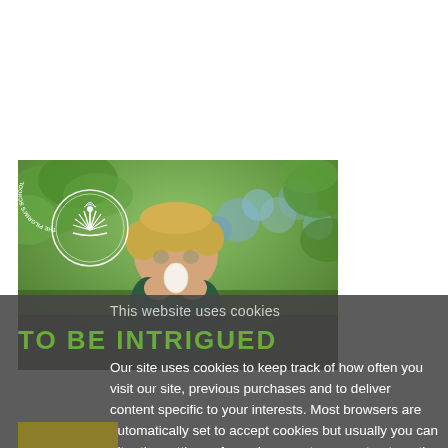[Figure (photo): A young boy with blond hair holds a white egg up to his face, standing in front of a green garden background. The Pilgrim's School circular logo is visible in the upper left of the image.]
This website uses cookies
TO BE INTRIGUED
Our site uses cookies to keep track of how often you visit our site, previous purchases and to deliver content specific to your interests. Most browsers are automatically set to accept cookies but usually you can alter the settings of your browser to prevent automatic acceptance. If you